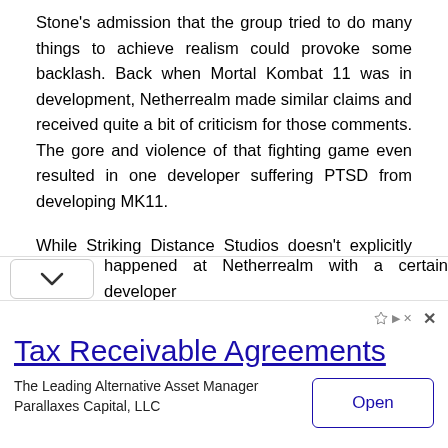Stone's admission that the group tried to do many things to achieve realism could provoke some backlash. Back when Mortal Kombat 11 was in development, Netherrealm made similar claims and received quite a bit of criticism for those comments. The gore and violence of that fighting game even resulted in one developer suffering PTSD from developing MK11.
While Striking Distance Studios doesn't explicitly specify what real-life cases of horror and gore it uses to base its games on, many gamers hope that the studio will keep the emotions in mind. of developers exposed to those scenes or events. Surely the studio also doesn't want to repeat happened at Netherrealm with a certain developer
[Figure (other): Advertisement banner for Tax Receivable Agreements by Parallaxes Capital, LLC with an Open button]